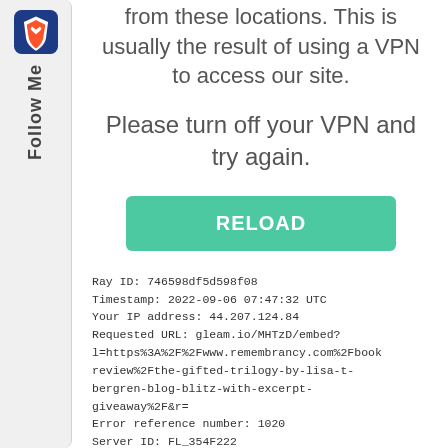from these locations. This is usually the result of using a VPN to access our site.
Please turn off your VPN and try again.
[Figure (other): Green RELOAD button]
Ray ID: 746598df5d598f08
Timestamp: 2022-09-06 07:47:32 UTC
Your IP address: 44.207.124.84
Requested URL: gleam.io/MHTzD/embed?l=https%3A%2F%2Fwww.remembrancy.com%2Fbook review%2Fthe-gifted-trilogy-by-lisa-t-bergren-blog-blitz-with-excerpt-giveaway%2F&r=
Error reference number: 1020
Server ID: FL_354F222
User-Agent: Mozilla/5.0 (iPhone; CPU iPhone OS 11_0 like Mac OS X) AppleWebKit/604.1.38 (KHTML, like Gecko) Version/11.0 Mobile/15A372
[Figure (logo): Brave browser Follow Me sidebar widget]